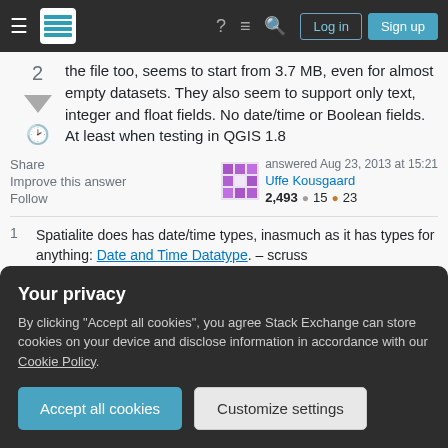Stack Exchange navigation bar with Log in and Sign up buttons
the file too, seems to start from 3.7 MB, even for almost empty datasets. They also seem to support only text, integer and float fields. No date/time or Boolean fields. At least when testing in QGIS 1.8
Share | Improve this answer | Follow | answered Aug 23, 2013 at 15:21 | Uffe Kousgaard | 2,493 | 15 | 23
1 Spatialite does has date/time types, inasmuch as it has types for anything: Date and Time Datatype. – scruss
Your privacy
By clicking "Accept all cookies", you agree Stack Exchange can store cookies on your device and disclose information in accordance with our Cookie Policy.
Accept all cookies | Customize settings